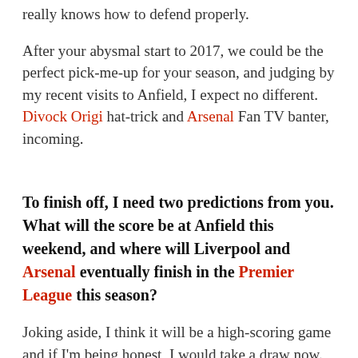really knows how to defend properly.
After your abysmal start to 2017, we could be the perfect pick-me-up for your season, and judging by my recent visits to Anfield, I expect no different. Divock Origi hat-trick and Arsenal Fan TV banter, incoming.
To finish off, I need two predictions from you. What will the score be at Anfield this weekend, and where will Liverpool and Arsenal eventually finish in the Premier League this season?
Joking aside, I think it will be a high-scoring game and if I'm being honest, I would take a draw now.